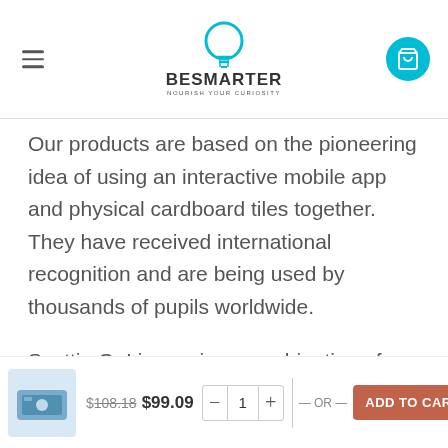BESMARTER — navigation header with logo and cart
Our products are based on the pioneering idea of using an interactive mobile app and physical cardboard tiles together. They have received international recognition and are being used by thousands of pupils worldwide.
Scottie Go! is a unique combination of interactive mobile applications and physical cardboard tiles, which emphasize the kinaesthetic and collaborative
$108.18  $99.09  - 1 +  — OR —  ADD TO CART